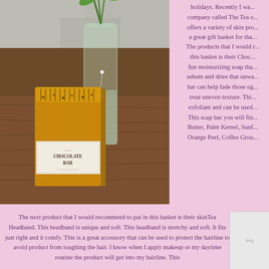[Figure (photo): A chocolate bar soap product next to a glass vase with green plant, placed on a wooden surface]
holidays. Recently I wa... company called The Tea o... offers a variety of skin pro... a great gift basket for tha...
The products that I would r... this basket is their Choc... fun moisturizing soap tha... sebum and dries that unwa... bar can help fade those ug... treat uneven texture. Thi... exfoliant and can be used... This soap bar you will fin... Butter, Palm Kernel, Sunf... Orange Peel, Coffee Grou...
The next product that I would recommend to put in this basket is their skinTea Headband. This headband is unique and soft. This headband is stretchy and soft. It fits just right and it comfy. This is a great accessory that can be used to protect the hairline to avoid product from toughing the hair. I know when I apply makeup or my daytime routine the product will get into my hairline. This
[Figure (photo): Small product image on right side, partially visible]